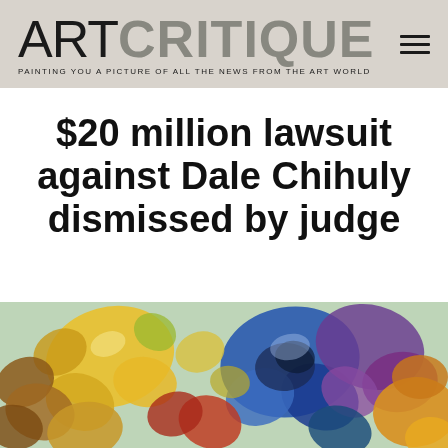ART CRITIQUE — PAINTING YOU A PICTURE OF ALL THE NEWS FROM THE ART WORLD
$20 million lawsuit against Dale Chihuly dismissed by judge
[Figure (photo): Colorful glass art installation with flower-shaped blown glass pieces in yellow, blue, purple, orange, red, and brown colors — characteristic of Dale Chihuly's work.]